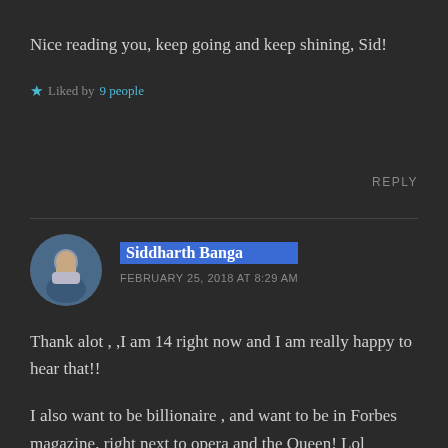Nice reading you, keep going and keep shining, Sid!
Liked by 9 people
REPLY
Siddharth Banga
FEBRUARY 25, 2018 AT 8:29 AM
Thank alot , ,I am 14 right now and I am really happy to hear that!!
I also want to be billionaire , and want to be in Forbes magazine, right next to opera and the Queen! Lol